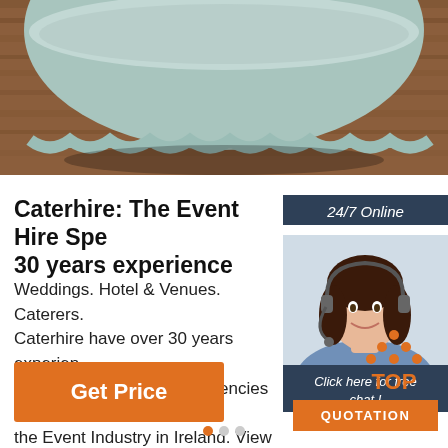[Figure (photo): A light teal/mint bowl sitting on a wooden surface, viewed from above/side angle, showing wood grain background]
24/7 Online
[Figure (photo): A smiling woman with dark hair wearing a headset/microphone, representing a customer service agent]
Click here for free chat !
QUOTATION
Caterhire: The Event Hire Spe... 30 years experience
Weddings. Hotel & Venues. Caterers. Caterhire have over 30 years experien... working with the leading agencies and... the Event Industry in Ireland. View Mo...
Get Price
[Figure (logo): TOP logo with orange dots arranged in a triangle above the text TOP in orange]